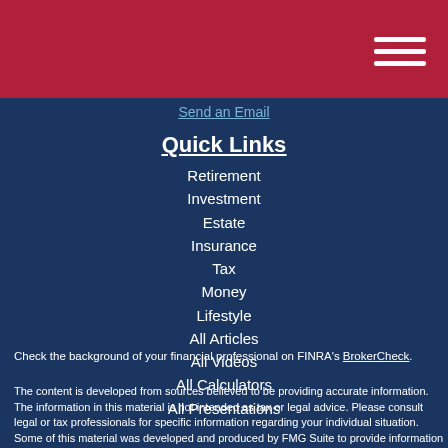Send an Email
Quick Links
Retirement
Investment
Estate
Insurance
Tax
Money
Lifestyle
All Articles
All Videos
All Calculators
All Presentations
Check the background of your financial professional on FINRA's BrokerCheck.
The content is developed from sources believed to be providing accurate information. The information in this material is not intended as tax or legal advice. Please consult legal or tax professionals for specific information regarding your individual situation. Some of this material was developed and produced by FMG Suite to provide information on a topic that may be of interest. FMG Suite is not affiliated with the